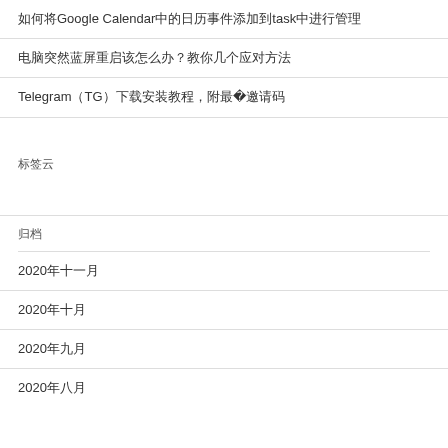如何将Google Calendar中的日历事件添加到task中进行管理
电脑突然蓝屏重启该怎么办？教你几个应对方法
Telegram（TG）下载安装教程，附最新2020邀请码
标签云
归档
2020年十一月
2020年十月
2020年九月
2020年八月